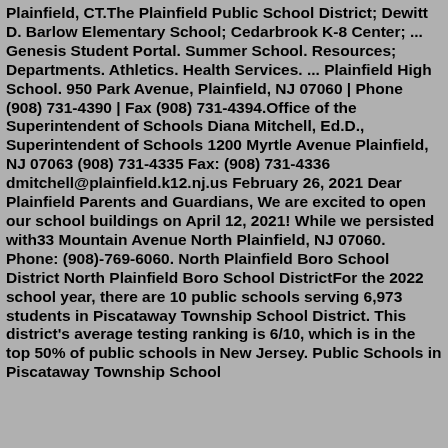Plainfield, CT.The Plainfield Public School District; Dewitt D. Barlow Elementary School; Cedarbrook K-8 Center; ... Genesis Student Portal. Summer School. Resources; Departments. Athletics. Health Services. ... Plainfield High School. 950 Park Avenue, Plainfield, NJ 07060 | Phone (908) 731-4390 | Fax (908) 731-4394.Office of the Superintendent of Schools Diana Mitchell, Ed.D., Superintendent of Schools 1200 Myrtle Avenue Plainfield, NJ 07063 (908) 731-4335 Fax: (908) 731-4336 dmitchell@plainfield.k12.nj.us February 26, 2021 Dear Plainfield Parents and Guardians, We are excited to open our school buildings on April 12, 2021! While we persisted with33 Mountain Avenue North Plainfield, NJ 07060. Phone: (908)-769-6060. North Plainfield Boro School District North Plainfield Boro School DistrictFor the 2022 school year, there are 10 public schools serving 6,973 students in Piscataway Township School District. This district's average testing ranking is 6/10, which is in the top 50% of public schools in New Jersey. Public Schools in Piscataway Township School